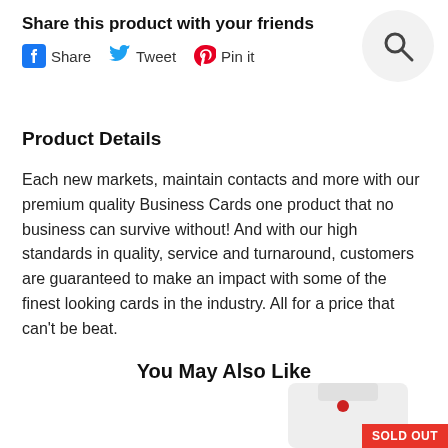Share this product with your friends
Share  Tweet  Pin it
[Figure (other): Search magnifying glass icon in a light grey circle]
Product Details
Each new markets, maintain contacts and more with our premium quality Business Cards one product that no business can survive without! And with our high standards in quality, service and turnaround, customers are guaranteed to make an impact with some of the finest looking cards in the industry. All for a price that can't be beat.
You May Also Like
[Figure (photo): Partial view of a white shirt with a small red logo, with a SOLD OUT banner in red at bottom right]